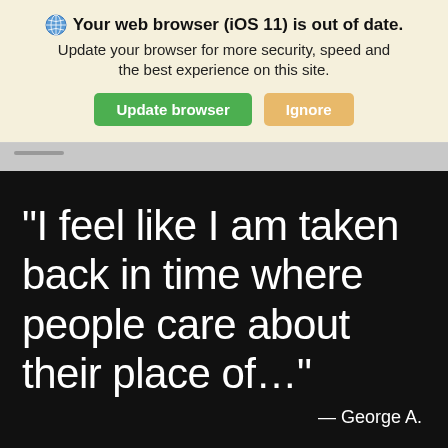Your web browser (iOS 11) is out of date. Update your browser for more security, speed and the best experience on this site.
Update browser | Ignore
“I feel like I am taken back in time where people care about their place of...”
— George A.